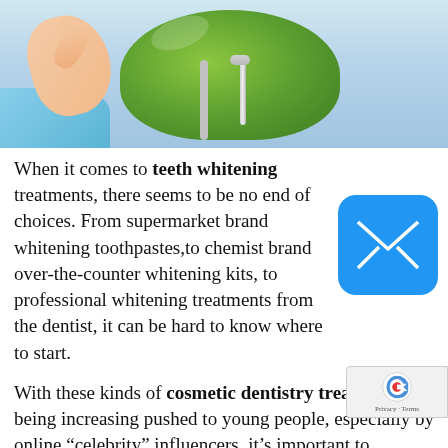[Figure (photo): Photo of a patient giving thumbs up in a dental chair (green headrest visible), wearing a light blue shirt, in a dental clinic setting]
When it comes to teeth whitening treatments, there seems to be no end of choices. From supermarket brand whitening toothpastes,to chemist brand over-the-counter whitening kits, to professional whitening treatments from the dentist, it can be hard to know where to start.
With these kinds of cosmetic dentistry treatments being increasing pushed to young people, especially by online “celebrity” influencers, it’s important to understand what they are, the associated risks and whether they’re right for you
It’s vital to remember that any whitening prod a chemical treatment and you should always be